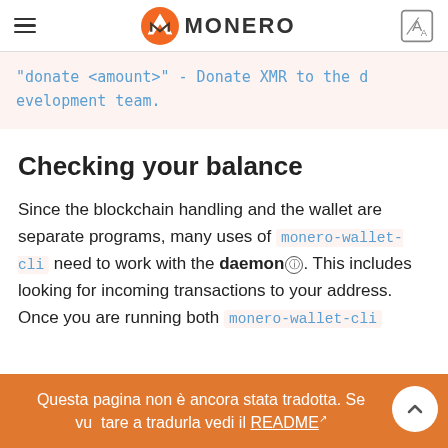MONERO
"donate <amount>" - Donate XMR to the development team.
Checking your balance
Since the blockchain handling and the wallet are separate programs, many uses of monero-wallet-cli need to work with the daemon. This includes looking for incoming transactions to your address. Once you are running both monero-wallet-cli
Questa pagina non è ancora stata tradotta. Se vuoi aiutare a tradurla vedi il README